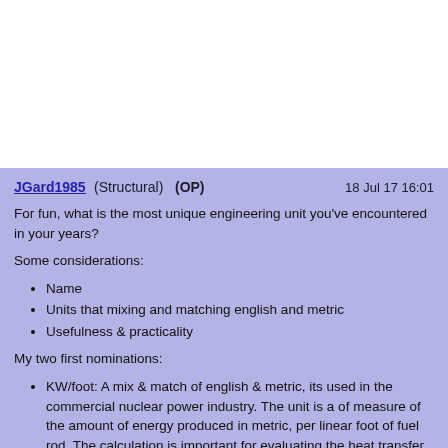JGard1985 (Structural)  (OP)   18 Jul 17 16:01
For fun, what is the most unique engineering unit you've encountered in your years?
Some considerations:
Name
Units that mixing and matching english and metric
Usefulness & practicality
My two first nominations:
KW/foot: A mix & match of english & metric, its used in the commercial nuclear power industry. The unit is a of measure of the amount of energy produced in metric, per linear foot of fuel rod. The calculation is important for evaluating the heat transfer